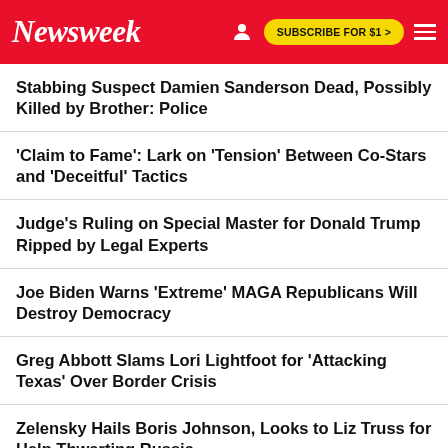Newsweek | SUBSCRIBE FOR $1 >
Stabbing Suspect Damien Sanderson Dead, Possibly Killed by Brother: Police
'Claim to Fame': Lark on 'Tension' Between Co-Stars and 'Deceitful' Tactics
Judge's Ruling on Special Master for Donald Trump Ripped by Legal Experts
Joe Biden Warns 'Extreme' MAGA Republicans Will Destroy Democracy
Greg Abbott Slams Lori Lightfoot for 'Attacking Texas' Over Border Crisis
Zelensky Hails Boris Johnson, Looks to Liz Truss for Help Thwarting Russia
Anti-Abortion Republican Says Girls Raped by Dads Should